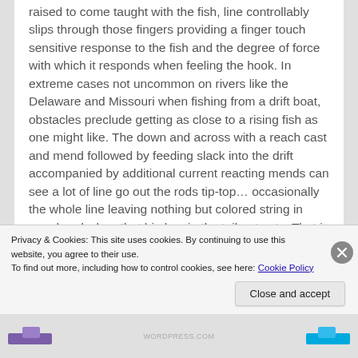raised to come taught with the fish, line controllably slips through those fingers providing a finger touch sensitive response to the fish and the degree of force with which it responds when feeling the hook. In extreme cases not uncommon on rivers like the Delaware and Missouri when fishing from a drift boat, obstacles preclude getting as close to a rising fish as one might like. The down and across with a reach cast and mend followed by feeding slack into the drift accompanied by additional current reacting mends can see a lot of line go out the rods tip-top… occasionally the whole line leaving nothing but colored string in your hand when that big boy in the tail out eats. That is a lot of line/water friction to
Privacy & Cookies: This site uses cookies. By continuing to use this website, you agree to their use.
To find out more, including how to control cookies, see here: Cookie Policy